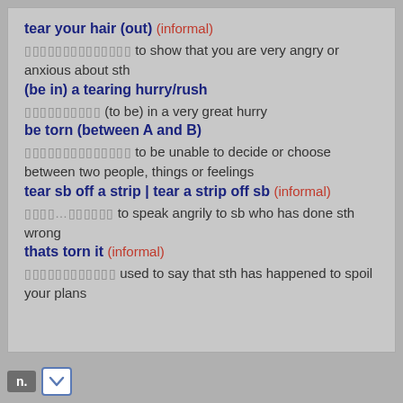tear your hair (out) (informal)
▯▯▯▯▯▯▯▯▯▯▯▯▯▯ to show that you are very angry or anxious about sth
(be in) a tearing hurry/rush
▯▯▯▯▯▯▯▯▯▯ (to be) in a very great hurry
be torn (between A and B)
▯▯▯▯▯▯▯▯▯▯▯▯▯▯ to be unable to decide or choose between two people, things or feelings
tear sb off a strip | tear a strip off sb (informal)
▯▯▯▯…▯▯▯▯▯▯ to speak angrily to sb who has done sth wrong
thats torn it (informal)
▯▯▯▯▯▯▯▯▯▯▯▯ used to say that sth has happened to spoil your plans